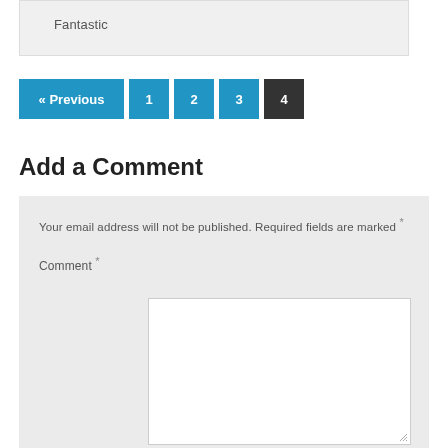Fantastic
« Previous  1  2  3  4
Add a Comment
Your email address will not be published. Required fields are marked *
Comment *